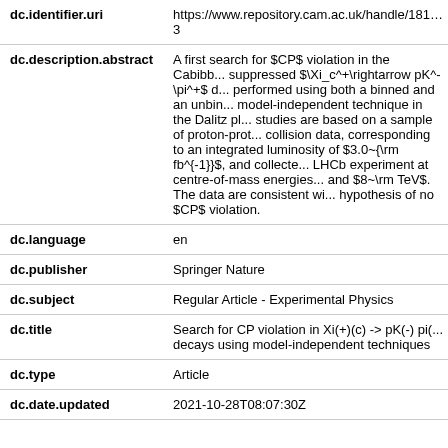| Field | Value |
| --- | --- |
| dc.identifier.uri | https://www.repository.cam.ac.uk/handle/181...
3 |
| dc.description.abstract | A first search for $CP$ violation in the Cabib... suppressed $\Xi_c^+\rightarrow pK^-\pi^+$ d... performed using both a binned and an unbin... model-independent technique in the Dalitz pl... studies are based on a sample of proton-prot... collision data, corresponding to an integrated luminosity of $3.0~{\rm fb^{-1}}$, and collecte... LHCb experiment at centre-of-mass energies... and $8~\rm TeV$. The data are consistent wi... hypothesis of no $CP$ violation. |
| dc.language | en |
| dc.publisher | Springer Nature |
| dc.subject | Regular Article - Experimental Physics |
| dc.title | Search for CP violation in Xi(+)(c) -> pK(-) pi(... decays using model-independent techniques |
| dc.type | Article |
| dc.date.updated | 2021-10-28T08:07:30Z |